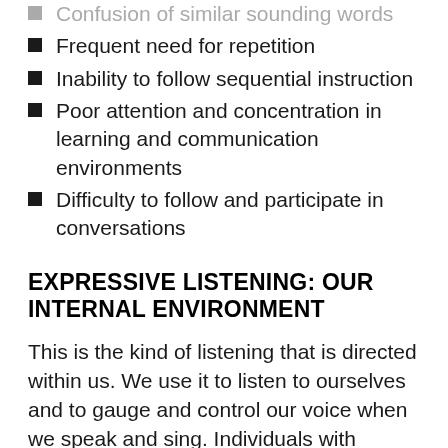Confusion of similar sounding words
Frequent need for repetition
Inability to follow sequential instruction
Poor attention and concentration in learning and communication environments
Difficulty to follow and participate in conversations
EXPRESSIVE LISTENING: OUR INTERNAL ENVIRONMENT
This is the kind of listening that is directed within us. We use it to listen to ourselves and to gauge and control our voice when we speak and sing. Individuals with listening-based communication problems are frequently seen to have very poor